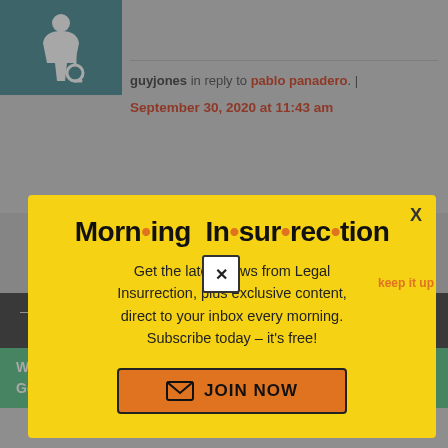[Figure (screenshot): Teal accessibility icon box in top-left corner]
guyjones in reply to pablo panadero. | September 30, 2020 at 11:43 am
[Figure (infographic): Yellow modal popup: Morning Insurrection newsletter signup — Get the latest news from Legal Insurrection, plus exclusive content, direct to your inbox every morning. Subscribe today – it's free! JOIN NOW button. X close button.]
— except whe those rights must
[Figure (screenshot): Floating X close button]
keep it up
[Figure (infographic): Green Fiverr banner: Working from home? Get your projects done on fiverr]
* Children are our most precious